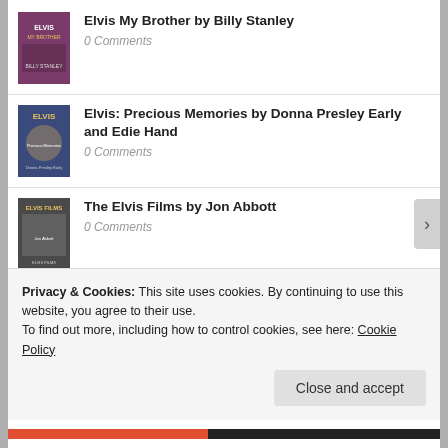Elvis My Brother by Billy Stanley
0 Comments
Elvis: Precious Memories by Donna Presley Early and Edie Hand
0 Comments
The Elvis Films by Jon Abbott
0 Comments
The Graceland Gates by Harold Loyd
1 Comment
Privacy & Cookies: This site uses cookies. By continuing to use this website, you agree to their use.
To find out more, including how to control cookies, see here: Cookie Policy
Close and accept